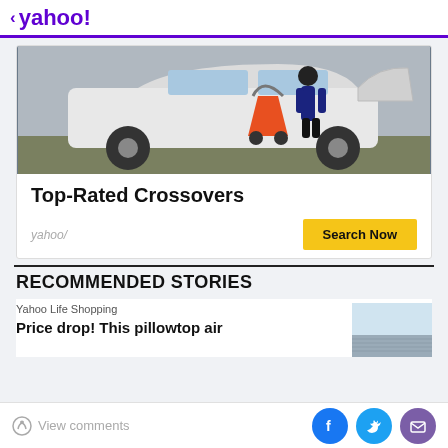< yahoo!
[Figure (photo): Person loading an orange stroller/pram into the back of a white crossover SUV]
Top-Rated Crossovers
yahoo/    Search Now
RECOMMENDED STORIES
Yahoo Life Shopping
Price drop! This pillowtop air
[Figure (photo): Thumbnail image of a building exterior with light blue sky]
View comments | Facebook | Twitter | Email